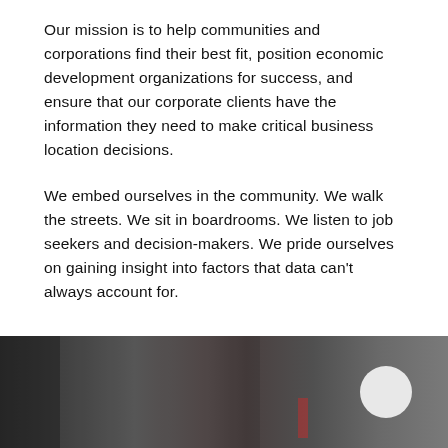Our mission is to help communities and corporations find their best fit, position economic development organizations for success, and ensure that our corporate clients have the information they need to make critical business location decisions.
We embed ourselves in the community. We walk the streets. We sit in boardrooms. We listen to job seekers and decision-makers. We pride ourselves on gaining insight into factors that data can't always account for.
[Figure (photo): Dark photograph of an urban street scene with blurred figures, a dark background, and a light circular element in the lower right area.]